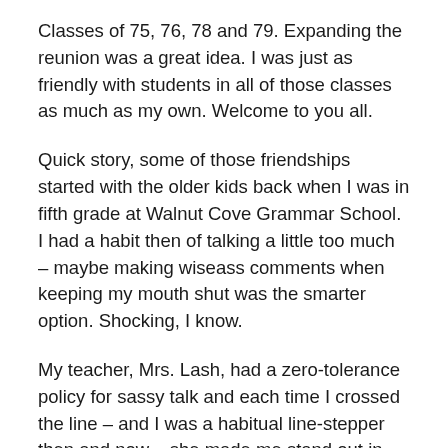Classes of 75, 76, 78 and 79. Expanding the reunion was a great idea. I was just as friendly with students in all of those classes as much as my own. Welcome to you all.
Quick story, some of those friendships started with the older kids back when I was in fifth grade at Walnut Cove Grammar School. I had a habit then of talking a little too much – maybe making wiseass comments when keeping my mouth shut was the smarter option. Shocking, I know.
My teacher, Mrs. Lash, had a zero-tolerance policy for sassy talk and each time I crossed the line – and I was a habitual line-stepper then and now – she made me stand out in the hall. A lot of days this happened when the seventh and eighth graders were waiting in the hall...